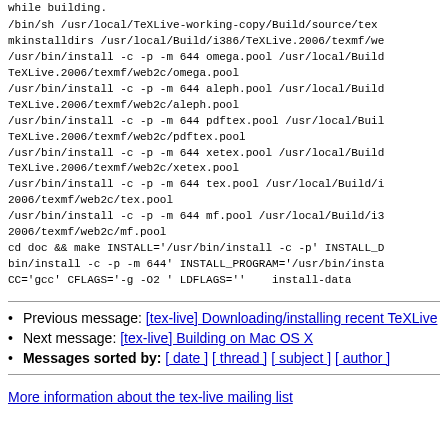while building.
/bin/sh /usr/local/TeXLive-working-copy/Build/source/tex
mkinstalldirs /usr/local/Build/i386/TeXLive.2006/texmf/we
/usr/bin/install -c -p -m 644 omega.pool /usr/local/Build
TeXLive.2006/texmf/web2c/omega.pool
/usr/bin/install -c -p -m 644 aleph.pool /usr/local/Build
TeXLive.2006/texmf/web2c/aleph.pool
/usr/bin/install -c -p -m 644 pdftex.pool /usr/local/Buil
TeXLive.2006/texmf/web2c/pdftex.pool
/usr/bin/install -c -p -m 644 xetex.pool /usr/local/Build
TeXLive.2006/texmf/web2c/xetex.pool
/usr/bin/install -c -p -m 644 tex.pool /usr/local/Build/i
2006/texmf/web2c/tex.pool
/usr/bin/install -c -p -m 644 mf.pool /usr/local/Build/i3
2006/texmf/web2c/mf.pool
cd doc && make INSTALL='/usr/bin/install -c -p' INSTALL_D
bin/install -c -p -m 644' INSTALL_PROGRAM='/usr/bin/insta
CC='gcc' CFLAGS='-g -O2 ' LDFLAGS=''    install-data
Previous message: [tex-live] Downloading/installing recent TeXLive
Next message: [tex-live] Building on Mac OS X
Messages sorted by: [ date ] [ thread ] [ subject ] [ author ]
More information about the tex-live mailing list